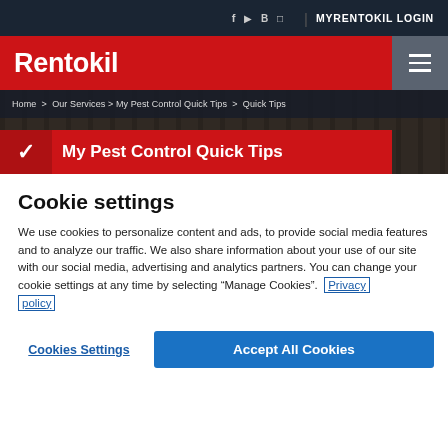f  yt  B  [chat]  |  MYRENTOKIL LOGIN
[Figure (logo): Rentokil logo in white text on red background with hamburger menu icon on grey background]
[Figure (screenshot): Hero image showing breadcrumb navigation: Home > Our Services > My Pest Control Quick Tips > Quick Tips, and page title banner 'My Pest Control Quick Tips' with red background and white checkmark]
Cookie settings
We use cookies to personalize content and ads, to provide social media features and to analyze our traffic. We also share information about your use of our site with our social media, advertising and analytics partners. You can change your cookie settings at any time by selecting “Manage Cookies”.  Privacy policy
Cookies Settings
Accept All Cookies